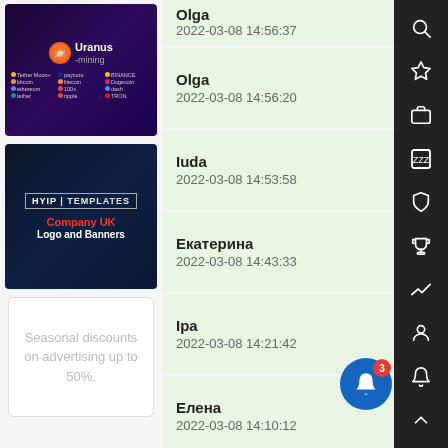[Figure (screenshot): Uranus mining advertisement banner with dark purple background and cryptocurrency logos]
[Figure (screenshot): HYIP Templates advertisement for Company UK Logo and Banners]
Seasonal discounts on advertising up to 50%.
Olga
2022-03-08 14:56:37
Olga
2022-03-08 14:56:20
Iuda
2022-03-08 14:53:58
Екатерина
2022-03-08 14:43:33
Ipa
2022-03-08 14:21:42
Елена
2022-03-08 14:10:12